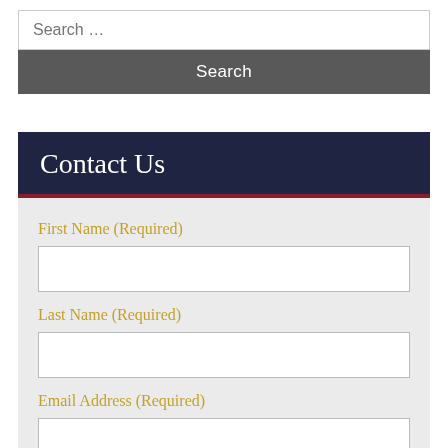Search …
Search
Contact Us
First Name (Required)
Last Name (Required)
Email Address (Required)